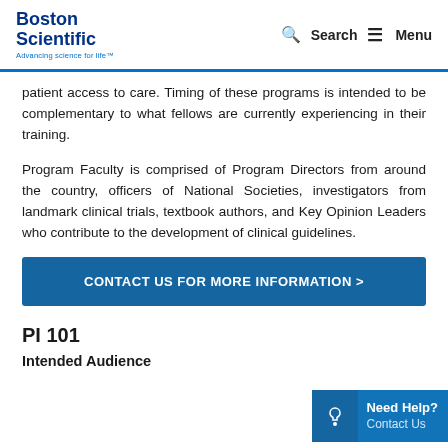Boston Scientific — Advancing science for life™ | Search | Menu
patient access to care. Timing of these programs is intended to be complementary to what fellows are currently experiencing in their training.
Program Faculty is comprised of Program Directors from around the country, officers of National Societies, investigators from landmark clinical trials, textbook authors, and Key Opinion Leaders who contribute to the development of clinical guidelines.
CONTACT US FOR MORE INFORMATION >
PI 101
Intended Audience